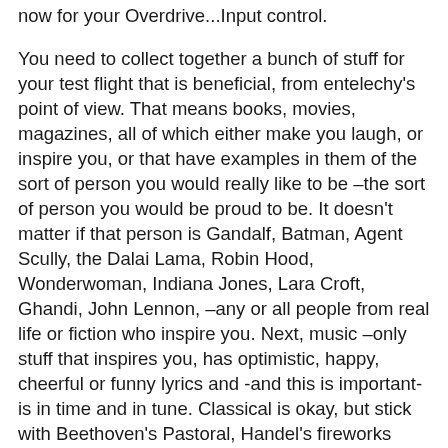now for your Overdrive...Input control.
You need to collect together a bunch of stuff for your test flight that is beneficial, from entelechy's point of view. That means books, movies, magazines, all of which either make you laugh, or inspire you, or that have examples in them of the sort of person you would really like to be –the sort of person you would be proud to be. It doesn't matter if that person is Gandalf, Batman, Agent Scully, the Dalai Lama, Robin Hood, Wonderwoman, Indiana Jones, Lara Croft, Ghandi, John Lennon, –any or all people from real life or fiction who inspire you. Next, music –only stuff that inspires you, has optimistic, happy, cheerful or funny lyrics and -and this is important- is in time and in tune. Classical is okay, but stick with Beethoven's Pastoral, Handel's fireworks suite or water music, Bach's baroque or brandenburgs, Mozart's 40th – nothing ponderous or depressing. From TV, probably only nature documentaries are safe for this particular mission, and it's best to leave the TV behind [it's only for a short while]. ABSOLUTELY BANNED is anything to do with politics or organised religion, graphic violence [unless it's fantasy, e.g.Lord of the Rings etc], soap operas or anything about 'everyday life in society', the